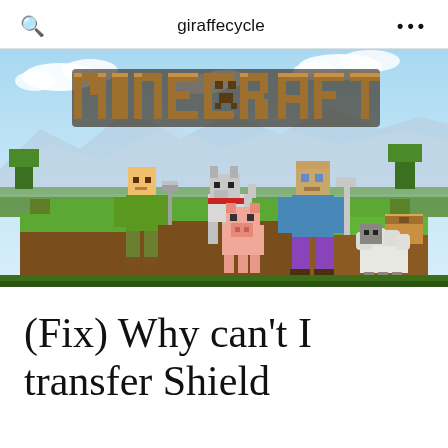giraffecycle
[Figure (screenshot): Minecraft promotional image with logo and characters (Alex, Steve, a wolf, a pig, and a sheep) on a grassy block landscape with blue sky background]
(Fix) Why can't I transfer Shield